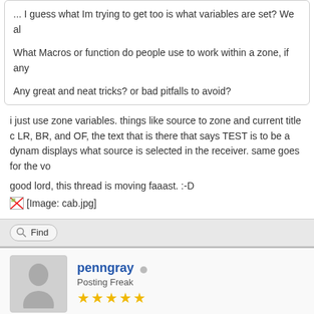... I guess what Im trying to get too is what variables are set? We al
What Macros or function do people use to work within a zone, if any
Any great and neat tricks? or bad pitfalls to avoid?
i just use zone variables. things like source to zone and current title c LR, BR, and OF, the text that is there that says TEST is to be a dynam displays what source is selected in the receiver. same goes for the vo
good lord, this thread is moving faaast. :-D
[Figure (illustration): [Image: cab.jpg] - broken image placeholder]
Find
penngray - Posting Freak - 5 stars
11-12-2006, 05:42 PM (This post was last modified: 11-12-2006, 05:47 PM by penngray.)